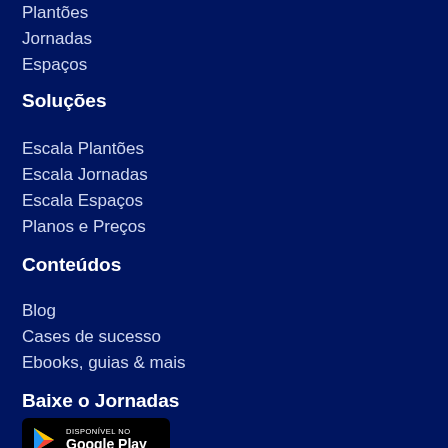Plantões
Jornadas
Espaços
Soluções
Escala Plantões
Escala Jornadas
Escala Espaços
Planos e Preços
Conteúdos
Blog
Cases de sucesso
Ebooks, guias & mais
Baixe o Jornadas
[Figure (logo): Google Play badge - Disponível no Google Play]